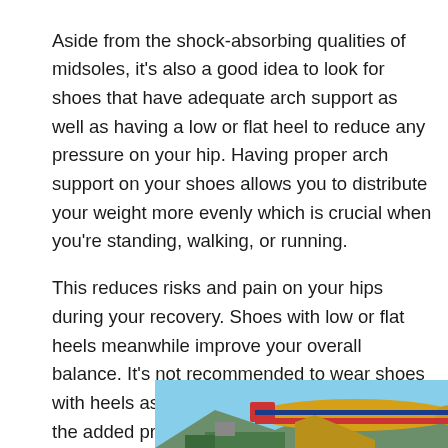Aside from the shock-absorbing qualities of midsoles, it's also a good idea to look for shoes that have adequate arch support as well as having a low or flat heel to reduce any pressure on your hip. Having proper arch support on your shoes allows you to distribute your weight more evenly which is crucial when you're standing, walking, or running.
This reduces risks and pain on your hips during your recovery. Shoes with low or flat heels meanwhile improve your overall balance. It's not recommended to wear shoes with heels as it will worsen your hips due to the added pressure
[Figure (photo): Advertisement banner showing cargo aircraft being loaded, with text overlay 'WITHOUT REGARD TO POLITICS, RELIGION, OR ABILITY TO PAY' on dark background on the right side.]